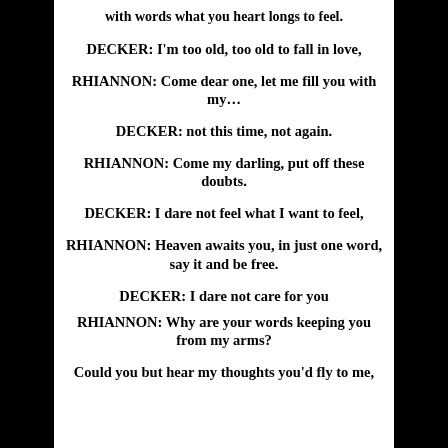with words what you heart longs to feel.
DECKER:  I'm too old, too old to fall in love,
RHIANNON: Come dear one, let me fill you with my…
DECKER:  not this time, not again.
RHIANNON:  Come my darling, put off these doubts.
DECKER:  I dare not feel what I want to feel,
RHIANNON: Heaven awaits you, in just one word, say it and be free.
DECKER:  I dare not care for you
RHIANNON:  Why are your words keeping you from my arms?
Could you but hear my thoughts you'd fly to me,